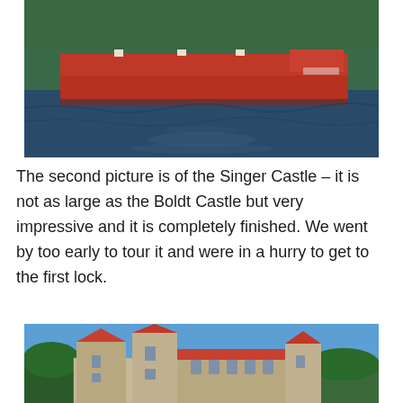[Figure (photo): A large red cargo/bulk carrier ship on dark blue water, with white cranes visible, surrounded by trees in the background. The ship is sailing from left to right.]
The second picture is of the Singer Castle – it is not as large as the Boldt Castle but very impressive and it is completely finished. We went by too early to tour it and were in a hurry to get to the first lock.
[Figure (photo): Singer Castle – a stone castle with red/orange roof towers and turrets under a blue sky, surrounded by trees.]